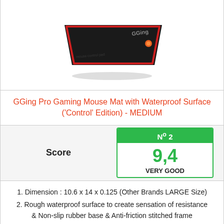[Figure (photo): GGing Pro Gaming Mouse Mat product photo — black rectangular mouse pad with red stitched border and GGing logo with orange accent on top-right corner, shown at an angle.]
GGing Pro Gaming Mouse Mat with Waterproof Surface ('Control' Edition) - MEDIUM
| Score | Nº 2 / 9,4 VERY GOOD |
| --- | --- |
1. Dimension : 10.6 x 14 x 0.125 (Other Brands LARGE Size)
2. Rough waterproof surface to create sensation of resistance & Non-slip rubber base & Anti-friction stitched frame
3. Optimized for all mouse sensitivities and